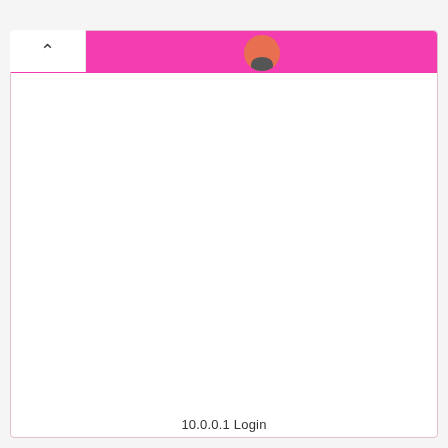[Figure (screenshot): Screenshot of a web browser showing a login page at 10.0.0.1. A pink/magenta header bar is visible at the top with an avatar/profile circle icon. A white back-button area with an upward chevron arrow is overlaid on the left side of the header. The rest of the page is white/blank.]
10.0.0.1 Login